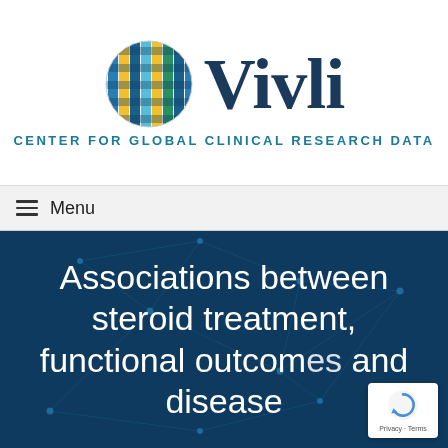[Figure (logo): Vivli logo: globe icon with colored grid pattern beside the word 'Vivli' in dark navy serif font, with tagline 'CENTER FOR GLOBAL CLINICAL RESEARCH DATA']
≡ Menu
Associations between steroid treatment, functional outcomes and disease